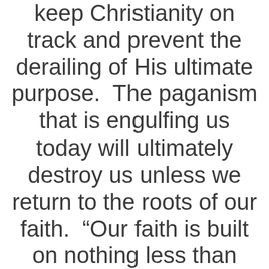keep Christianity on track and prevent the derailing of His ultimate purpose.  The paganism that is engulfing us today will ultimately destroy us unless we return to the roots of our faith.  “Our faith is built on nothing less than Jesus’ blood and righteousness.”  It is on the solid rock we must stand for truly all other ground is sinking sand.